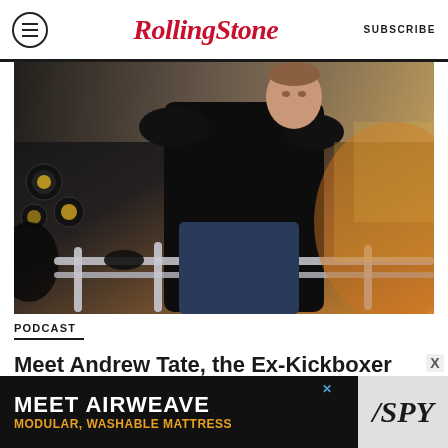Rolling Stone | SUBSCRIBE
[Figure (photo): A man in a black leather jacket viewed from below, standing at a railing with stage lights and atmospheric haze in the background.]
PODCAST
Meet Andrew Tate, the Ex-Kickboxer Red-Pilling the Angry Young Men of
[Figure (other): Advertisement banner: MEET AIRWEAVE / MODULAR, WASHABLE MATTRESS with SPY logo]